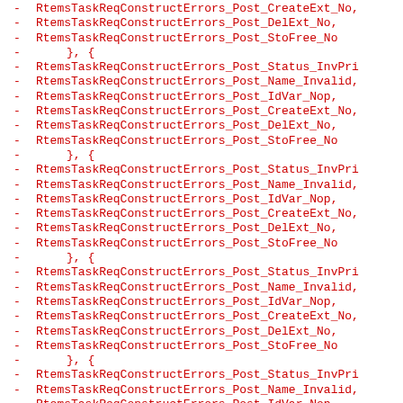Code listing showing RtemsTaskReqConstructErrors_Post entries in red monospace font, repeated pattern of list items with dash prefix
- RtemsTaskReqConstructErrors_Post_CreateExt_No,
- RtemsTaskReqConstructErrors_Post_DelExt_No,
- RtemsTaskReqConstructErrors_Post_StoFree_No
- }, {
- RtemsTaskReqConstructErrors_Post_Status_InvPri
- RtemsTaskReqConstructErrors_Post_Name_Invalid,
- RtemsTaskReqConstructErrors_Post_IdVar_Nop,
- RtemsTaskReqConstructErrors_Post_CreateExt_No,
- RtemsTaskReqConstructErrors_Post_DelExt_No,
- RtemsTaskReqConstructErrors_Post_StoFree_No
- }, {
- RtemsTaskReqConstructErrors_Post_Status_InvPri
- RtemsTaskReqConstructErrors_Post_Name_Invalid,
- RtemsTaskReqConstructErrors_Post_IdVar_Nop,
- RtemsTaskReqConstructErrors_Post_CreateExt_No,
- RtemsTaskReqConstructErrors_Post_DelExt_No,
- RtemsTaskReqConstructErrors_Post_StoFree_No
- }, {
- RtemsTaskReqConstructErrors_Post_Status_InvPri
- RtemsTaskReqConstructErrors_Post_Name_Invalid,
- RtemsTaskReqConstructErrors_Post_IdVar_Nop,
- RtemsTaskReqConstructErrors_Post_CreateExt_No,
- RtemsTaskReqConstructErrors_Post_DelExt_No,
- RtemsTaskReqConstructErrors_Post_StoFree_No
- }, {
- RtemsTaskReqConstructErrors_Post_Status_InvPri
- RtemsTaskReqConstructErrors_Post_Name_Invalid,
- RtemsTaskReqConstructErrors_Post_IdVar_Nop,
- RtemsTaskReqConstructErrors_Post_CreateExt_No,
- RtemsTaskReqConstructErrors_Post_DelExt_No,